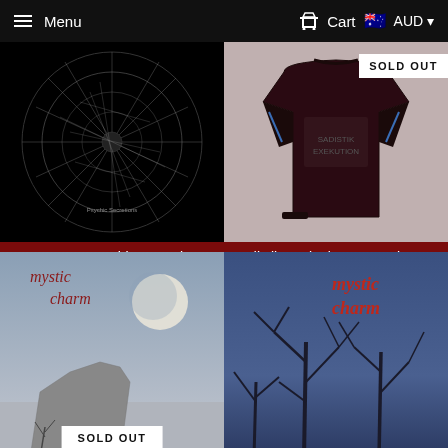Menu  Cart  AUD
[Figure (photo): StarGazer Psychic Secretions CD album art - black and white circular pattern]
StarGazer – Psychic Secretions CD
$20.00
[Figure (photo): Sadistik Exekution longsleeve dark shirt with SOLD OUT badge]
Sadistik Exekution - Longsleeve Shirt
$45.00
[Figure (photo): Mystic Charm album cover with moon over rocky landscape, SOLD OUT badge]
[Figure (photo): Mystic Charm album cover with dark trees against blue sky]